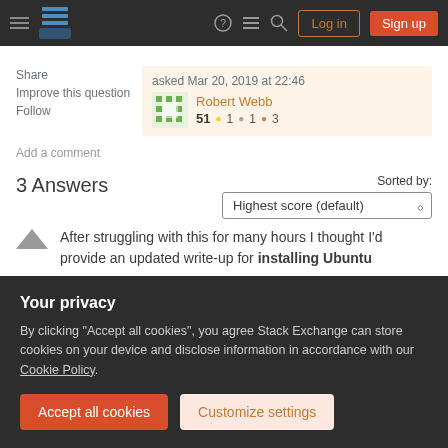Stack Exchange navigation bar with Log in and Sign up buttons
Share
Improve this question
Follow
asked Mar 20, 2019 at 22:46
Robert Webb
51 ●1 ●1 ●3
Add a comment
3 Answers
Sorted by: Highest score (default)
After struggling with this for many hours I thought I'd provide an updated write-up for installing Ubuntu
Your privacy
By clicking "Accept all cookies", you agree Stack Exchange can store cookies on your device and disclose information in accordance with our Cookie Policy.
Accept all cookies   Customize settings
with a T2 chip. Another source is this Reddit post